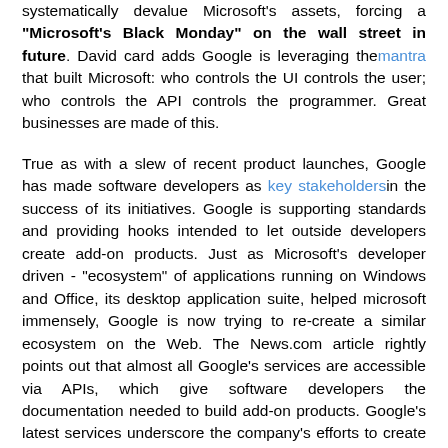systematically devalue Microsoft's assets, forcing a "Microsoft's Black Monday" on the wall street in future. David card adds Google is leveraging the mantra that built Microsoft: who controls the UI controls the user; who controls the API controls the programmer. Great businesses are made of this.

True as with a slew of recent product launches, Google has made software developers as key stakeholders in the success of its initiatives. Google is supporting standards and providing hooks intended to let outside developers create add-on products. Just as Microsoft's developer driven - "ecosystem" of applications running on Windows and Office, its desktop application suite, helped microsoft immensely, Google is now trying to re-create a similar ecosystem on the Web. The News.com article rightly points out that almost all Google's services are accessible via APIs, which give software developers the documentation needed to build add-on products. Google's latest services underscore the company's efforts to create a platform on which to build add-on products and services. While Google's products are not a replacement OS, but the collection of tools